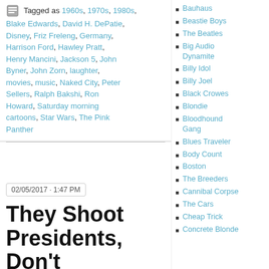Tagged as 1960s, 1970s, 1980s, Blake Edwards, David H. DePatie, Disney, Friz Freleng, Germany, Harrison Ford, Hawley Pratt, Henry Mancini, Jackson 5, John Byner, John Zorn, laughter, movies, music, Naked City, Peter Sellers, Ralph Bakshi, Ron Howard, Saturday morning cartoons, Star Wars, The Pink Panther
02/05/2017 · 1:47 PM
They Shoot Presidents, Don't
Bauhaus
Beastie Boys
The Beatles
Big Audio Dynamite
Billy Idol
Billy Joel
Black Crowes
Blondie
Bloodhound Gang
Blues Traveler
Body Count
Boston
The Breeders
Cannibal Corpse
The Cars
Cheap Trick
Concrete Blonde